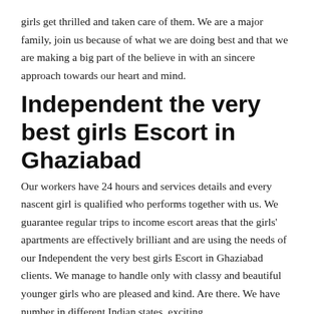girls get thrilled and taken care of them. We are a major family, join us because of what we are doing best and that we are making a big part of the believe in with an sincere approach towards our heart and mind.
Independent the very best girls Escort in Ghaziabad
Our workers have 24 hours and services details and every nascent girl is qualified who performs together with us. We guarantee regular trips to income escort areas that the girls' apartments are effectively brilliant and are using the needs of our Independent the very best girls Escort in Ghaziabad clients. We manage to handle only with classy and beautiful younger girls who are pleased and kind. Are there. We have number in different Indian states, exciting